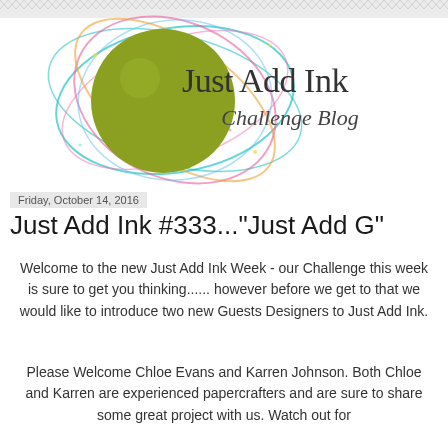[Figure (logo): Just Add Ink Challenge Blog logo with olive green ink circle and colorful swirly lines decoration]
Friday, October 14, 2016
Just Add Ink #333..."Just Add G"
Welcome to the new Just Add Ink Week - our Challenge this week is sure to get you thinking...... however before we get to that we would like to introduce two new Guests Designers to Just Add Ink.
Please Welcome Chloe Evans and Karren Johnson. Both Chloe and Karren are experienced papercrafters and are sure to share some great project with us.  Watch out for